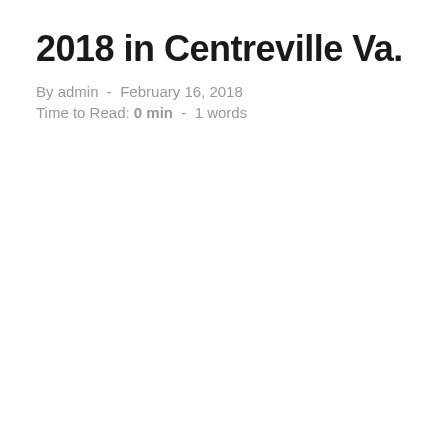2018 in Centreville Va.
By admin  -  February 16, 2018
Time to Read: 0 min  -  1 words